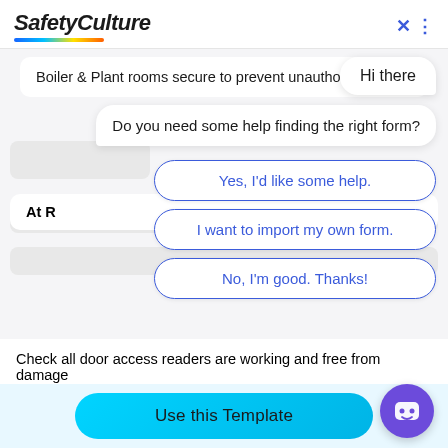[Figure (screenshot): SafetyCulture app screenshot showing a chatbot overlay on top of a form. The header shows the SafetyCulture logo with a colorful underline and a blue X close button. The background shows form items including 'Boiler & Plant rooms secure to prevent unauthorised ac-' and 'Check all door access readers are working and free from damage'. Over the form is a chat interface with a 'Hi there' bubble, a bot message 'Do you need some help finding the right form?', and three option buttons: 'Yes, I'd like some help.', 'I want to import my own form.', 'No, I'm good. Thanks!'. At the bottom is a cyan 'Use this Template' button and a purple chatbot icon.]